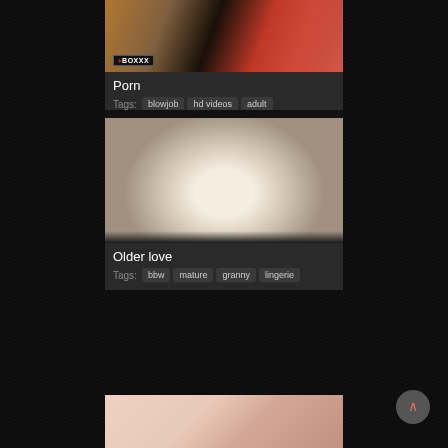[Figure (photo): Thumbnail image for video titled Porn, showing two people at a dining table setting]
Porn
Tags: blowjob  hd videos  adult
[Figure (photo): Thumbnail image for video titled Older love, showing a person from behind]
Older love
Tags: bbw  mature  granny  lingerie
[Figure (photo): Partial thumbnail of a third video at the bottom of the page]